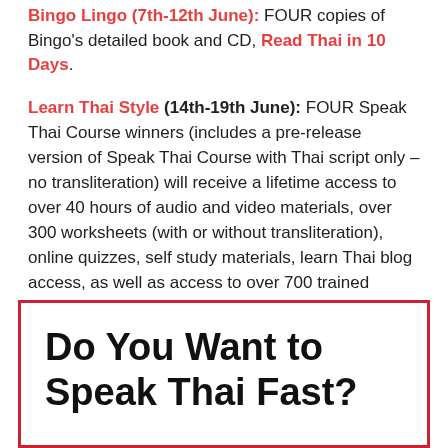Bingo Lingo (7th-12th June): FOUR copies of Bingo's detailed book and CD, Read Thai in 10 Days.
Learn Thai Style (14th-19th June): FOUR Speak Thai Course winners (includes a pre-release version of Speak Thai Course with Thai script only – no transliteration) will receive a lifetime access to over 40 hours of audio and video materials, over 300 worksheets (with or without transliteration), online quizzes, self study materials, learn Thai blog access, as well as access to over 700 trained teachers (UK, USA, Singapore, Thailand and Skype).
Do You Want to Speak Thai Fast?